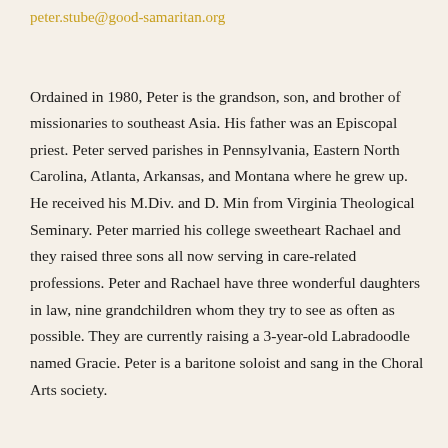peter.stube@good-samaritan.org
Ordained in 1980, Peter is the grandson, son, and brother of missionaries to southeast Asia. His father was an Episcopal priest. Peter served parishes in Pennsylvania, Eastern North Carolina, Atlanta, Arkansas, and Montana where he grew up. He received his M.Div. and D. Min from Virginia Theological Seminary. Peter married his college sweetheart Rachael and they raised three sons all now serving in care-related professions. Peter and Rachael have three wonderful daughters in law, nine grandchildren whom they try to see as often as possible. They are currently raising a 3-year-old Labradoodle named Gracie. Peter is a baritone soloist and sang in the Choral Arts society.